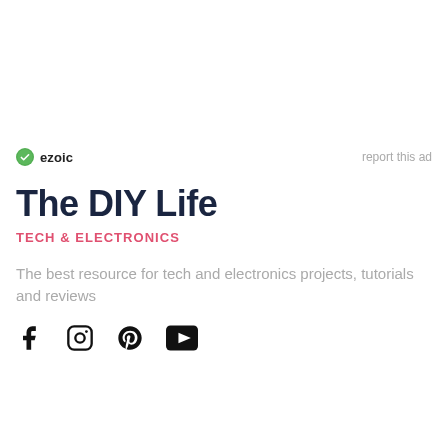[Figure (logo): Ezoic logo with green circular icon and 'ezoic' text, plus 'report this ad' link on right]
The DIY Life
TECH & ELECTRONICS
The best resource for tech and electronics projects, tutorials and reviews
[Figure (other): Social media icons: Facebook, Instagram, Pinterest, YouTube]